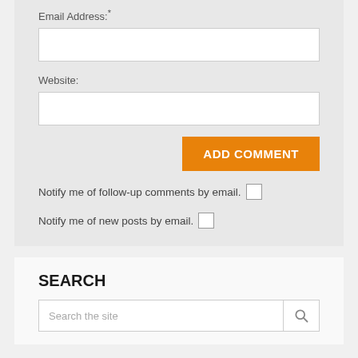Email Address:*
[Figure (other): Email address text input field (empty white rectangle)]
Website:
[Figure (other): Website text input field (empty white rectangle)]
ADD COMMENT
Notify me of follow-up comments by email.
Notify me of new posts by email.
SEARCH
Search the site